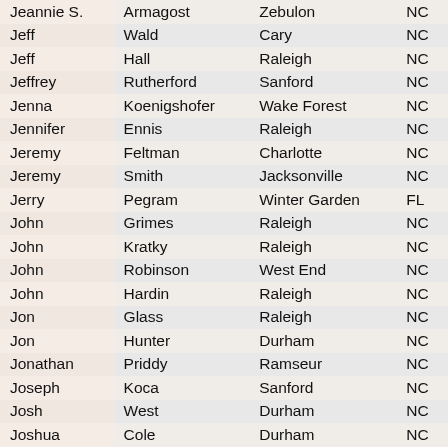| Jeannie S. | Armagost | Zebulon | NC |
| Jeff | Wald | Cary | NC |
| Jeff | Hall | Raleigh | NC |
| Jeffrey | Rutherford | Sanford | NC |
| Jenna | Koenigshofer | Wake Forest | NC |
| Jennifer | Ennis | Raleigh | NC |
| Jeremy | Feltman | Charlotte | NC |
| Jeremy | Smith | Jacksonville | NC |
| Jerry | Pegram | Winter Garden | FL |
| John | Grimes | Raleigh | NC |
| John | Kratky | Raleigh | NC |
| John | Robinson | West End | NC |
| John | Hardin | Raleigh | NC |
| Jon | Glass | Raleigh | NC |
| Jon | Hunter | Durham | NC |
| Jonathan | Priddy | Ramseur | NC |
| Joseph | Koca | Sanford | NC |
| Josh | West | Durham | NC |
| Joshua | Cole | Durham | NC |